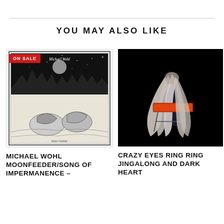YOU MAY ALSO LIKE
[Figure (photo): Album cover for Michael Wohl Moonfeeder/Song of Impermanence - black and white illustration of figures in a landscape with 'Michael Wohl' and 'Solo Guitar' text, with a red ON SALE badge]
[Figure (photo): Album cover for Crazy Eyes Ring Ring Jingalong and Dark Heart - photo of a figure with long white hair playing keyboard against a black background]
MICHAEL WOHL MOONFEEDER/SONG OF IMPERMANENCE –
CRAZY EYES RING RING JINGALONG AND DARK HEART